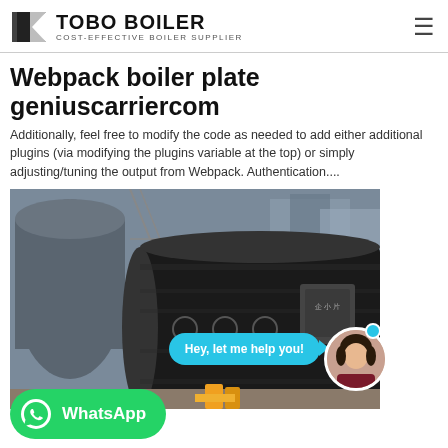TOBO BOILER COST-EFFECTIVE BOILER SUPPLIER
Webpack boiler plate geniuscarriercom
Additionally, feel free to modify the code as needed to add either additional plugins (via modifying the plugins variable at the top) or simply adjusting/tuning the output from Webpack. Authentication....
[Figure (photo): Industrial boiler equipment in a factory setting, with a large cylindrical black boiler on a flatbed. Overlaid with a chat bubble saying 'Hey, let me help you!', an avatar of a woman, a blue online dot, and a WhatsApp button.]
Ideal Esprit 2 30 boiler Spare Parts